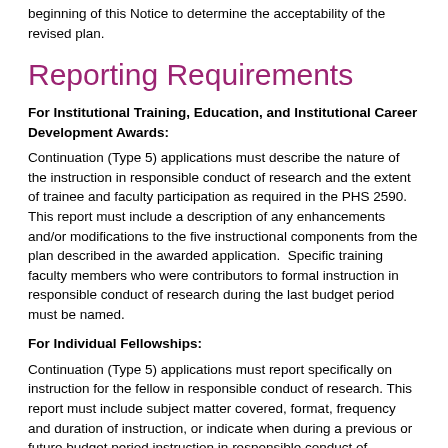beginning of this Notice to determine the acceptability of the revised plan.
Reporting Requirements
For Institutional Training, Education, and Institutional Career Development Awards:
Continuation (Type 5) applications must describe the nature of the instruction in responsible conduct of research and the extent of trainee and faculty participation as required in the PHS 2590.  This report must include a description of any enhancements and/or modifications to the five instructional components from the plan described in the awarded application.  Specific training faculty members who were contributors to formal instruction in responsible conduct of research during the last budget period must be named.
For Individual Fellowships:
Continuation (Type 5) applications must report specifically on instruction for the fellow in responsible conduct of research. This report must include subject matter covered, format, frequency and duration of instruction, or indicate when during a previous or future budget period instruction in responsible conduct of research did or will take place.  The report should discuss both formal and/or informal